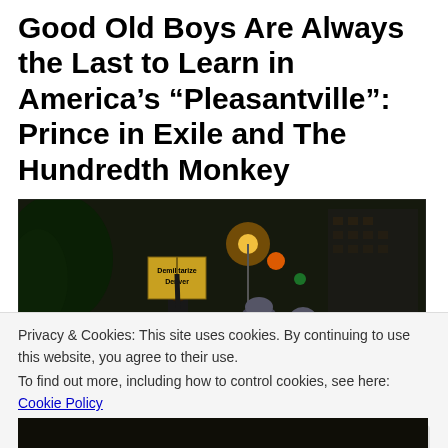Good Old Boys Are Always the Last to Learn in America's “Pleasantville”: Prince in Exile and The Hundredth Monkey
[Figure (photo): Night protest scene with crowd holding a sign reading 'Demilitarize Denver', police officers in helmets facing protesters, street lights and buildings in background]
Privacy & Cookies: This site uses cookies. By continuing to use this website, you agree to their use.
To find out more, including how to control cookies, see here: Cookie Policy
Close and accept